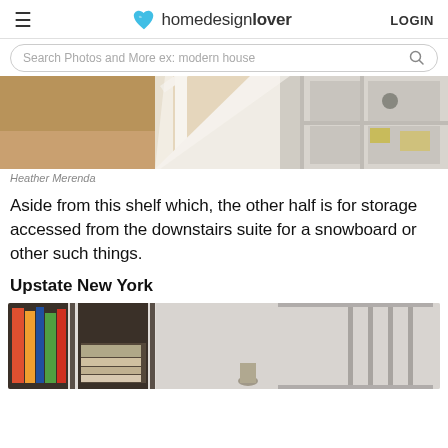homedesignlover  LOGIN
Search Photos and More ex: modern house
[Figure (photo): Interior photo showing under-stair storage with white built-in shelving and wood flooring]
Heather Merenda
Aside from this shelf which, the other half is for storage accessed from the downstairs suite for a snowboard or other such things.
Upstate New York
[Figure (photo): Interior photo showing built-in bookshelves filled with books and a staircase railing]